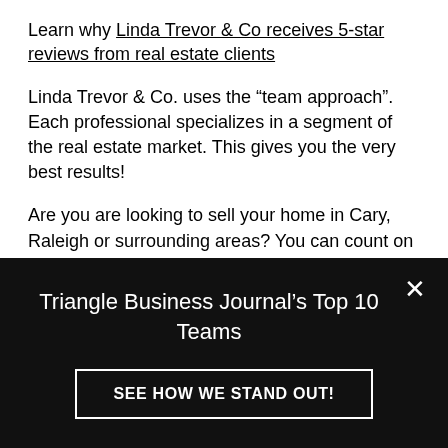Learn why Linda Trevor & Co receives 5-star reviews from real estate clients
Linda Trevor & Co. uses the “team approach”. Each professional specializes in a segment of the real estate market. This gives you the very best results!
Are you are looking to sell your home in Cary, Raleigh or surrounding areas? You can count on Linda Trevor & Co. as the knowledgeable team of professionals. They will position your property for
Triangle Business Journal’s Top 10 Teams
SEE HOW WE STAND OUT!